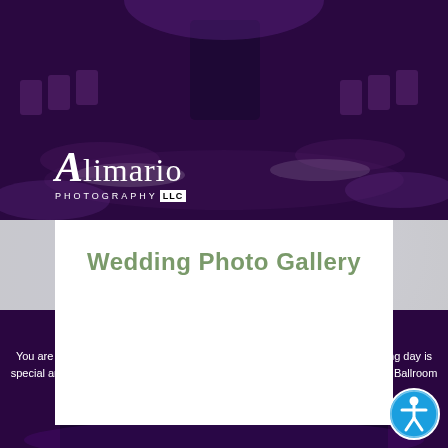[Figure (photo): Wedding ballroom reception photo with purple lighting, chairs and tables, overlaid with Alimario Photography LLC logo in bottom left]
Wedding Photo Gallery
[Figure (photo): Accessibility icon button - blue circle with white person/wheelchair symbol]
[Figure (photo): Dark purple lit Grand Ballroom interior photo background]
Benefits to Choosing Us
You are the ONLY wedding in the Grand Ballroom the entire day! Your wedding day is special and should be treated as such, which is what The Collingswood Grand Ballroom offers their Brides and Grooms.